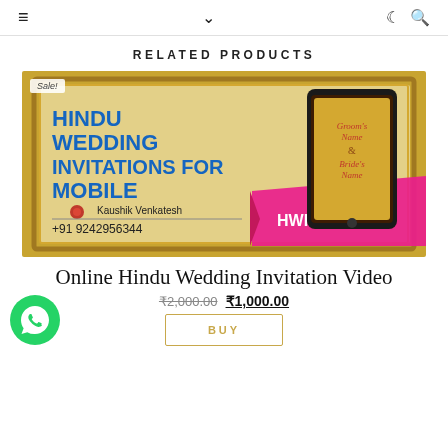≡  ∨  ☾ 🔍
RELATED PRODUCTS
[Figure (photo): Hindu Wedding Invitations for Mobile promotional image showing a smartphone with a wedding invitation template. Text reads: HINDU WEDDING INVITATIONS FOR MOBILE, Kaushik Venkatesh, +91 9242956344, HWIMOB-037, Groom's Name & Bride's Name. Sale badge in top-left.]
Online Hindu Wedding Invitation Video
₹2,000.00  ₹1,000.00
BUY